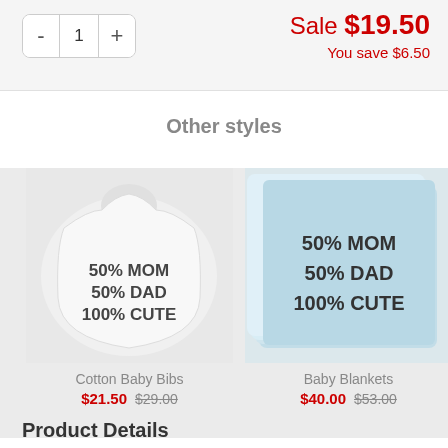- 1 +
Sale $19.50
You save $6.50
Other styles
[Figure (photo): White baby bib with text '50% MOM 50% DAD 100% CUTE']
Cotton Baby Bibs
$21.50 $29.00
[Figure (photo): Light blue baby blanket with text '50% MOM 50% DAD 100% CUTE']
Baby Blankets
$40.00 $53.00
[Figure (photo): Partially visible third product]
S
Product Details